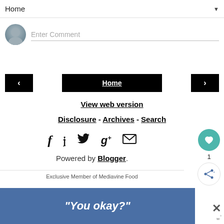Home ▼
Enter Comment
‹  Home  ›
View web version
Disclosure - Archives - Search
[Figure (infographic): Social media icons row: Facebook (f), Pinterest (p), Twitter (bird), Google+ (g+), Email (envelope)]
Powered by Blogger.
Exclusive Member of Mediavine Food
[Figure (infographic): Floating like button (teal heart) with count 1, and share button below]
[Figure (infographic): Ad banner: "You okay?" in white italic bold text on blue background, with X close button]